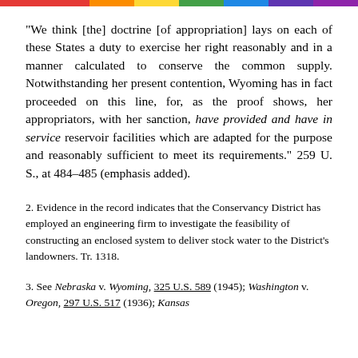"We think [the] doctrine [of appropriation] lays on each of these States a duty to exercise her right reasonably and in a manner calculated to conserve the common supply. Notwithstanding her present contention, Wyoming has in fact proceeded on this line, for, as the proof shows, her appropriators, with her sanction, have provided and have in service reservoir facilities which are adapted for the purpose and reasonably sufficient to meet its requirements." 259 U. S., at 484–485 (emphasis added).
2. Evidence in the record indicates that the Conservancy District has employed an engineering firm to investigate the feasibility of constructing an enclosed system to deliver stock water to the District's landowners. Tr. 1318.
3. See Nebraska v. Wyoming, 325 U.S. 589 (1945); Washington v. Oregon, 297 U.S. 517 (1936); Kansas